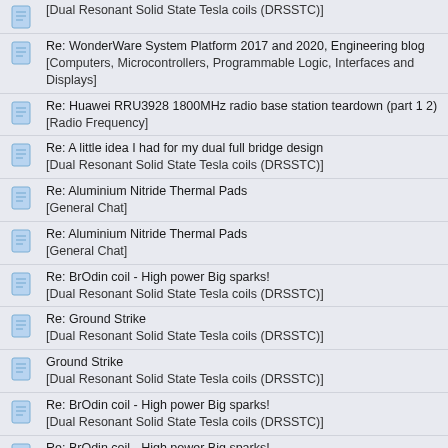[Dual Resonant Solid State Tesla coils (DRSSTC)]
Re: WonderWare System Platform 2017 and 2020, Engineering blog
[Computers, Microcontrollers, Programmable Logic, Interfaces and Displays]
Re: Huawei RRU3928 1800MHz radio base station teardown (part 1 2)
[Radio Frequency]
Re: A little idea I had for my dual full bridge design
[Dual Resonant Solid State Tesla coils (DRSSTC)]
Re: Aluminium Nitride Thermal Pads
[General Chat]
Re: Aluminium Nitride Thermal Pads
[General Chat]
Re: BrOdin coil - High power Big sparks!
[Dual Resonant Solid State Tesla coils (DRSSTC)]
Re: Ground Strike
[Dual Resonant Solid State Tesla coils (DRSSTC)]
Ground Strike
[Dual Resonant Solid State Tesla coils (DRSSTC)]
Re: BrOdin coil - High power Big sparks!
[Dual Resonant Solid State Tesla coils (DRSSTC)]
Re: BrOdin coil - High power Big sparks!
[Dual Resonant Solid State Tesla coils (DRSSTC)]
Re: BrOdin coil - High power Big sparks!
[Dual Resonant Solid State Tesla coils (DRSSTC)]